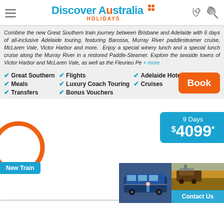Discover Australia Holidays
Combine the new Great Southern train journey between Brisbane and Adelaide with 6 days of all-inclusive Adelaide touring, featuring Barossa, Murray River paddlesteamer cruise, McLaren Vale, Victor Harbor and more. Enjoy a special winery lunch and a special lunch cruise along the Murray River in a restored Paddle-Steamer. Explore the seaside towns of Victor Harbor and McLaren Vale, as well as the Fleurieu Pe + more
Great Southern
Flights
Adelaide Hotel
Meals
Luxury Coach Touring
Cruises
Transfers
Bonus Vouchers
9 Days $4099*
New Train
[Figure (photo): Partial orange circle decorative element]
[Figure (photo): Two photos at bottom: coach bus and farm/train scene]
Contact Us